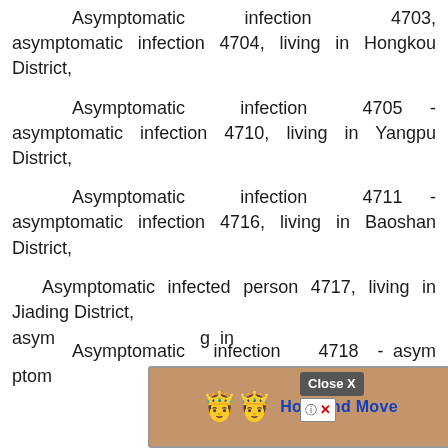Asymptomatic infection 4703, asymptomatic infection 4704, living in Hongkou District,
Asymptomatic infection 4705 - asymptomatic infection 4710, living in Yangpu District,
Asymptomatic infection 4711 - asymptomatic infection 4716, living in Baoshan District,
Asymptomatic infected person 4717, living in Jiading District,
Asymptomatic infection 4718 - asymptomatic infection ... living in